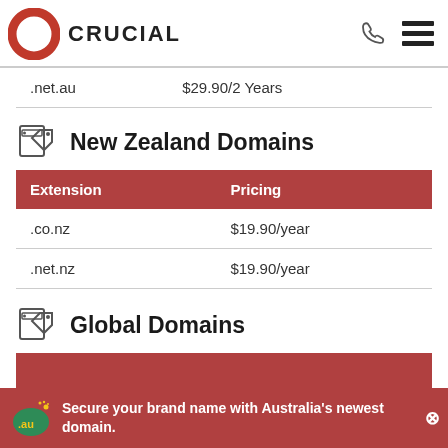CRUCIAL
| Extension | Pricing |
| --- | --- |
| .net.au | $29.90/2 Years |
New Zealand Domains
| Extension | Pricing |
| --- | --- |
| .co.nz | $19.90/year |
| .net.nz | $19.90/year |
Global Domains
Secure your brand name with Australia's newest domain.